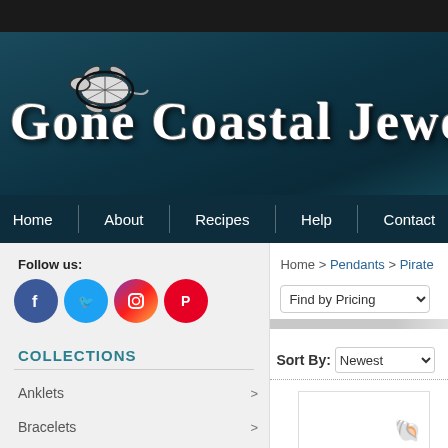[Figure (screenshot): Top black navigation bar]
[Figure (logo): Gone Coastal Jewelry logo with sea turtle illustration and white serif brand name text on dark teal gradient background]
Home | About | Recipes | Help | Contact
Follow us:
[Figure (illustration): Social media icons: Facebook (blue), Twitter (light blue), Instagram (gradient), Pinterest (red)]
COLLECTIONS
Anklets >
Bracelets >
Chains >
Charms >
Home > Pendants > Pirate
Find by Pricing
Sort By: Newest